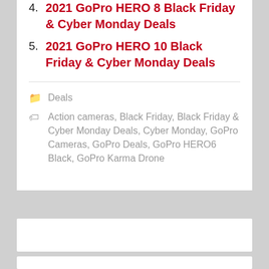4. 2021 GoPro HERO 8 Black Friday & Cyber Monday Deals
5. 2021 GoPro HERO 10 Black Friday & Cyber Monday Deals
Deals
Action cameras, Black Friday, Black Friday & Cyber Monday Deals, Cyber Monday, GoPro Cameras, GoPro Deals, GoPro HERO6 Black, GoPro Karma Drone